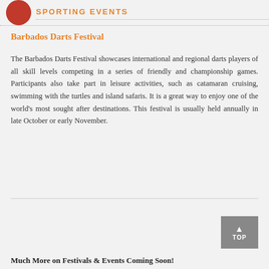SPORTING EVENTS
Barbados Darts Festival
The Barbados Darts Festival showcases international and regional darts players of all skill levels competing in a series of friendly and championship games. Participants also take part in leisure activities, such as catamaran cruising, swimming with the turtles and island safaris. It is a great way to enjoy one of the world’s most sought after destinations. This festival is usually held annually in late October or early November.
Much More on Festivals & Events Coming Soon!